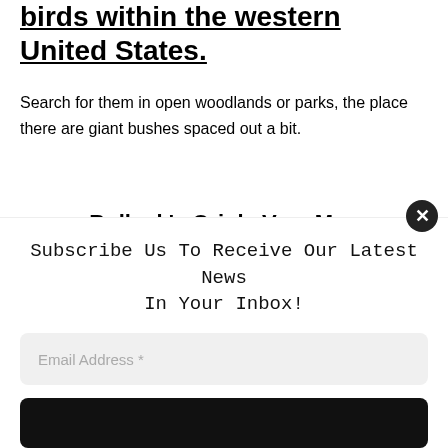birds within the western United States.
Search for them in open woodlands or parks, the place there are giant bushes spaced out a bit.
Bullock's Oriole Vary Map
You'll be able to attempt to entice these birds to your yard by providing sugary meals, which assist them
Subscribe Us To Receive Our Latest News In Your Inbox!
Email Address *